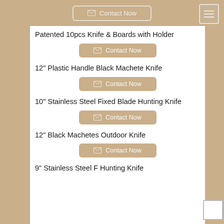Contact Now
Patented 10pcs Knife & Boards with Holder
Contact Now
12" Plastic Handle Black Machete Knife
Contact Now
10" Stainless Steel Fixed Blade Hunting Knife
Contact Now
12" Black Machetes Outdoor Knife
Contact Now
9" Stainless Steel F Hunting Knife